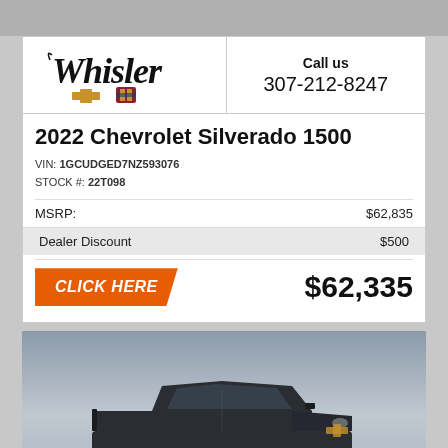[Figure (logo): Whisler Chevrolet and Cadillac dealership logo in script font with brand badges]
Call us
307-212-8247
2022 Chevrolet Silverado 1500
VIN: 1GCUDGED7NZ593076
STOCK #: 22T098
|  |  |
| --- | --- |
| MSRP: | $62,835 |
| Dealer Discount | $500 |
CLICK HERE
$62,335
[Figure (photo): Dark gray 2022 Chevrolet Silverado 1500 truck on gradient background]